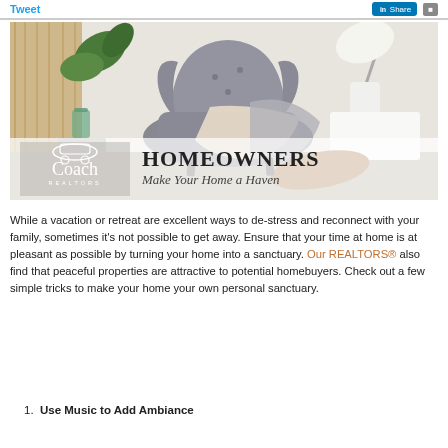Tweet  Share
[Figure (photo): Interior room photo showing a grey wingback armchair with a blanket draped over it, a glass vase with green plant, a white desk lamp on a bedside table. Overlay banner shows Coach Realtors logo and text 'HOMEOWNERS Make Your Home a Haven']
While a vacation or retreat are excellent ways to de-stress and reconnect with your family, sometimes it's not possible to get away. Ensure that your time at home is at pleasant as possible by turning your home into a sanctuary. Our REALTORS® also find that peaceful properties are attractive to potential homebuyers. Check out a few simple tricks to make your home your own personal sanctuary.
1. Use Music to Add Ambiance